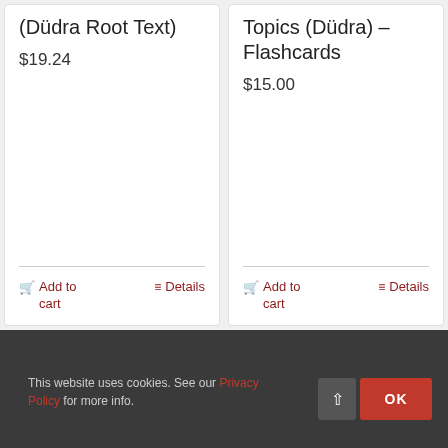(Düdra Root Text)
$19.24
Add to cart
Details
Topics (Düdra) – Flashcards
$15.00
Add to cart
Details
This website uses cookies. See our Privacy Policy for more info.